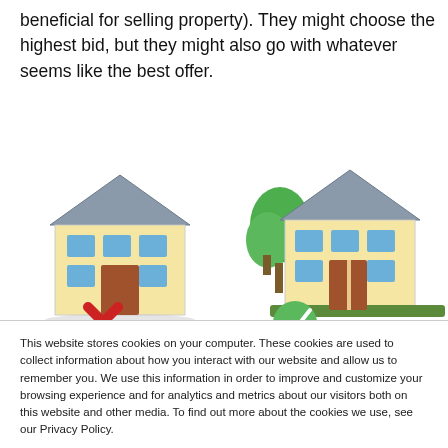beneficial for selling property). They might choose the highest bid, but they might also go with whatever seems like the best offer.
[Figure (illustration): Two house illustrations side by side. The left house has a red X mark beneath it indicating a rejected/bad property. The right house has a green tree beside it and a green checkmark circle beneath it indicating an approved/good property.]
This website stores cookies on your computer. These cookies are used to collect information about how you interact with our website and allow us to remember you. We use this information in order to improve and customize your browsing experience and for analytics and metrics about our visitors both on this website and other media. To find out more about the cookies we use, see our Privacy Policy.
Accept